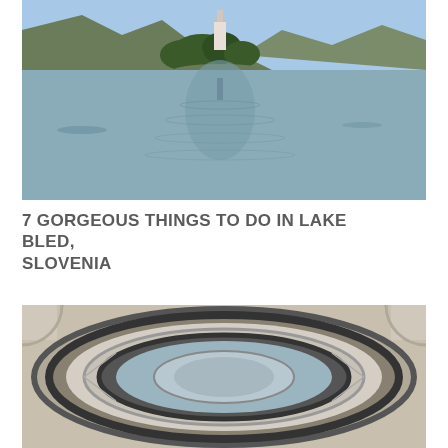[Figure (photo): Photo of Lake Bled, Slovenia showing a small island with a church and bell tower surrounded by calm water reflecting the scene, with forested mountains in the background under a clear blue sky.]
7 GORGEOUS THINGS TO DO IN LAKE BLED, SLOVENIA
[Figure (photo): Interior architectural photo looking up through an ornate spiral staircase with baroque-style painted ceiling panels visible at the bottom, featuring decorative plasterwork and a circular skylight.]